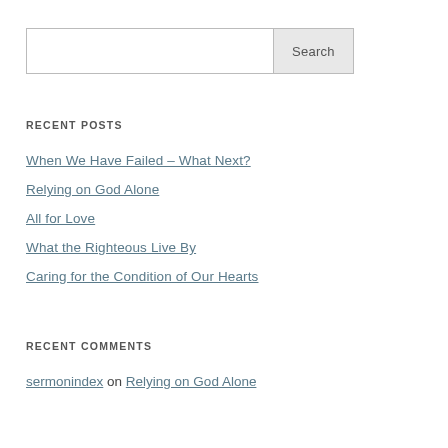RECENT POSTS
When We Have Failed – What Next?
Relying on God Alone
All for Love
What the Righteous Live By
Caring for the Condition of Our Hearts
RECENT COMMENTS
sermonindex on Relying on God Alone